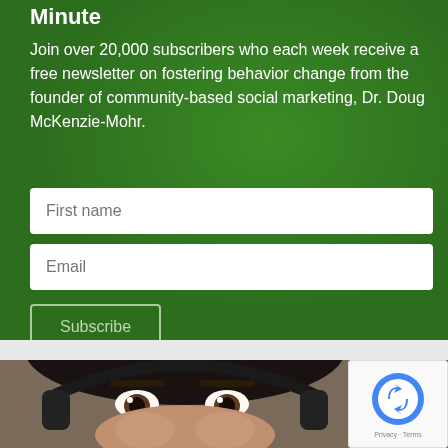Minute
Join over 20,000 subscribers who each week receive a free newsletter on fostering behavior change from the founder of community-based social marketing, Dr. Doug McKenzie-Mohr.
[Figure (photo): Close-up photograph of a woman wearing headphones/headset, showing her eyes and upper face]
[Figure (logo): reCAPTCHA badge with Google reCAPTCHA logo and Privacy - Terms text]